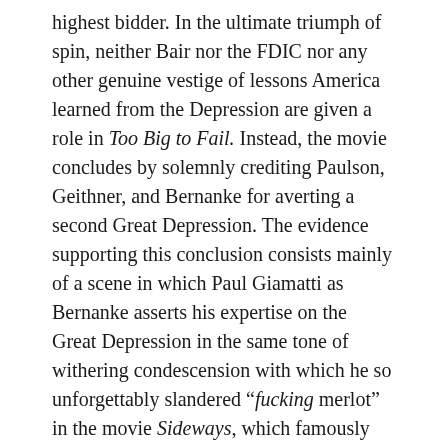highest bidder. In the ultimate triumph of spin, neither Bair nor the FDIC nor any other genuine vestige of lessons America learned from the Depression are given a role in Too Big to Fail. Instead, the movie concludes by solemnly crediting Paulson, Geithner, and Bernanke for averting a second Great Depression. The evidence supporting this conclusion consists mainly of a scene in which Paul Giamatti as Bernanke asserts his expertise on the Great Depression in the same tone of withering condescension with which he so unforgettably slandered “fucking merlot” in the movie Sideways, which famously boosted American pinot noir sales by 16 percent. In an ongoing national tragedy, however, Bernanke’s entire manual of Depression-aversion techniques